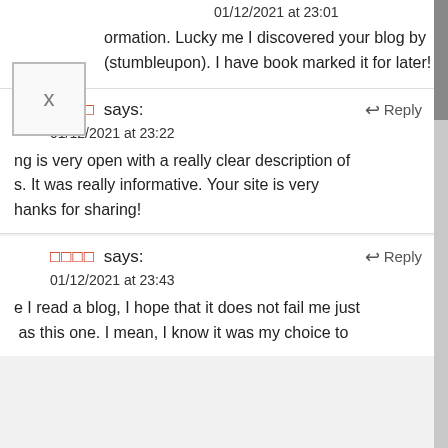01/12/2021 at 23:01
ormation. Lucky me I discovered your blog by (stumbleupon). I have book marked it for later!
□□□□ says: 01/12/2021 at 23:22 Reply
ng is very open with a really clear description of s. It was really informative. Your site is very hanks for sharing!
□□□□ says: 01/12/2021 at 23:43 Reply
e I read a blog, I hope that it does not fail me just as this one. I mean, I know it was my choice to